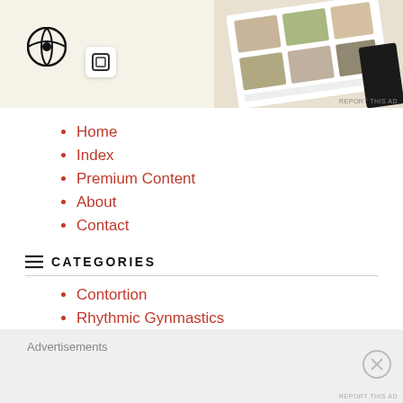[Figure (screenshot): Advertisement banner with WordPress logo, Squarespace logo, and food photo grid collage on beige background]
Home
Index
Premium Content
About
Contact
CATEGORIES
Contortion
Rhythmic Gynmastics
Ballet
Advertisements